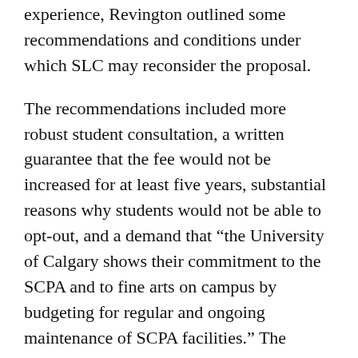experience, Revington outlined some recommendations and conditions under which SLC may reconsider the proposal.
The recommendations included more robust student consultation, a written guarantee that the fee would not be increased for at least five years, substantial reasons why students would not be able to opt-out, and a demand that “the University of Calgary shows their commitment to the SCPA and to fine arts on campus by budgeting for regular and ongoing maintenance of SCPA facilities.” The complete letter and SLC’s recommendations can be viewed online.
Under the Post-Secondary Learning Act,